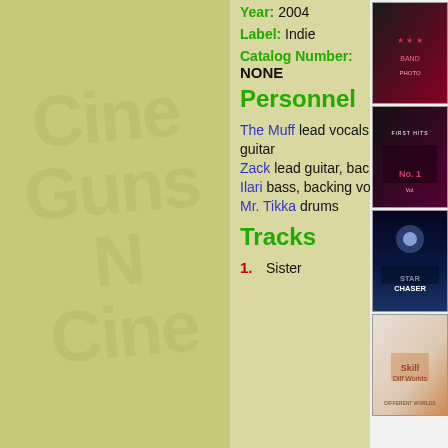Year: 2004
Label: Indie
Catalog Number: NONE
Personnel
The Muff lead vocals, rhythm guitar
Zack lead guitar, backing vocals
Ilari bass, backing vocals
Mr. Tikka drums
Tracks
1. Sister
[Figure (photo): Album cover - band photo with people in dark/red outfits]
[Figure (photo): Album cover - group photo with First Hits text]
[Figure (photo): Album cover - Starchaser sci-fi space landscape]
[Figure (photo): Album cover - Skillet Different Worlds marble texture]